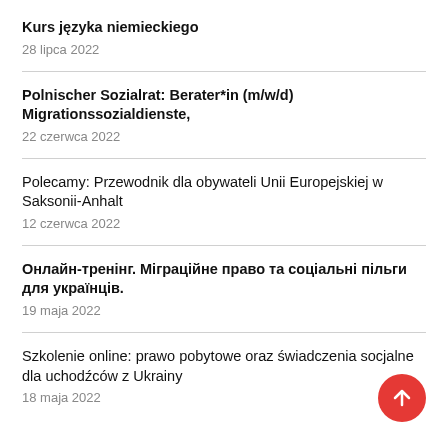Kurs języka niemieckiego
28 lipca 2022
Polnischer Sozialrat: Berater*in (m/w/d) Migrationssozialdienste,
22 czerwca 2022
Polecamy: Przewodnik dla obywateli Unii Europejskiej w Saksonii-Anhalt
12 czerwca 2022
Онлайн-тренінг. Міграційне право та соціальні пільги для українців.
19 maja 2022
Szkolenie online: prawo pobytowe oraz świadczenia socjalne dla uchodźców z Ukrainy
18 maja 2022